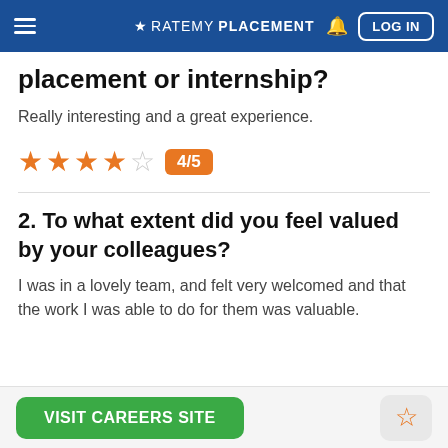★ RATEMYPLACEMENT  🔔  LOG IN
placement or internship?
Really interesting and a great experience.
4/5 (4 stars out of 5)
2. To what extent did you feel valued by your colleagues?
I was in a lovely team, and felt very welcomed and that the work I was able to do for them was valuable.
VISIT CAREERS SITE  ☆